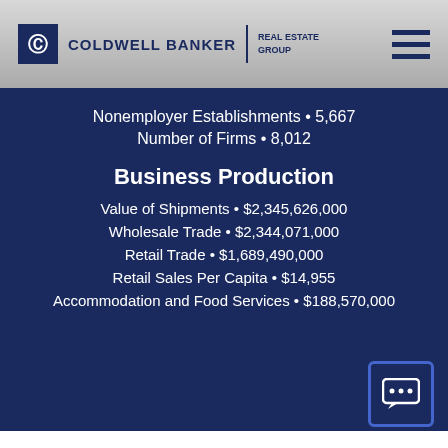Coldwell Banker Real Estate Group
Nonemployer Establishments • 5,667
Number of Firms • 8,012
Business Production
Value of Shipments • $2,345,626,000
Wholesale Trade • $2,344,071,000
Retail Trade • $1,689,490,000
Retail Sales Per Capita • $14,955
Accommodation and Food Services • $188,570,000
LA SALLE COUNTY